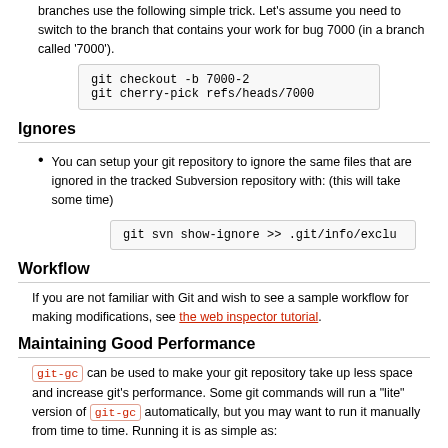branches use the following simple trick. Let's assume you need to switch to the branch that contains your work for bug 7000 (in a branch called '7000').
git checkout -b 7000-2
git cherry-pick refs/heads/7000
Ignores
You can setup your git repository to ignore the same files that are ignored in the tracked Subversion repository with: (this will take some time)
git svn show-ignore >> .git/info/exclu
Workflow
If you are not familiar with Git and wish to see a sample workflow for making modifications, see the web inspector tutorial.
Maintaining Good Performance
git-gc can be used to make your git repository take up less space and increase git's performance. Some git commands will run a "lite" version of git-gc automatically, but you may want to run it manually from time to time. Running it is as simple as:
git gc